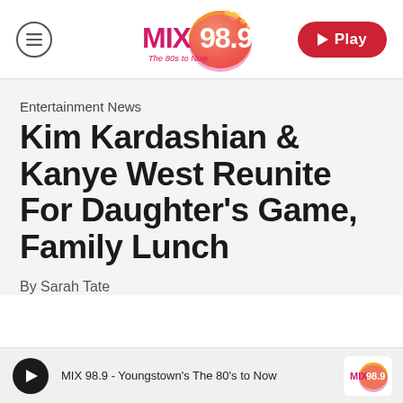[Figure (logo): MIX 98.9 radio station logo with orange/pink splatter ball graphic and tagline 'The 80s to Now']
Entertainment News
Kim Kardashian & Kanye West Reunite For Daughter's Game, Family Lunch
By Sarah Tate
MIX 98.9 - Youngstown's The 80's to Now